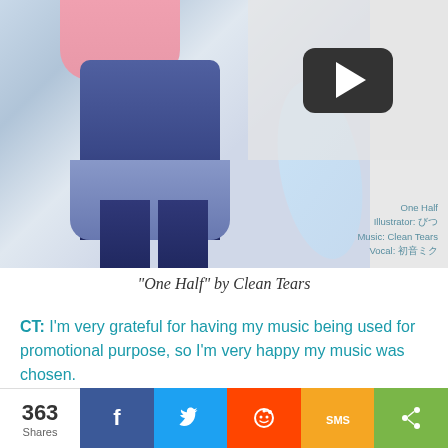[Figure (illustration): Anime character (manga-style girl with pink hair, dark blue outfit, skirt, and feather/wing elements) with a YouTube play button overlay in the upper right portion of the image. Credits text in lower right: 'One Half / Illustrator: びつ / Music: Clean Tears / Vocal: 初音ミク']
"One Half" by Clean Tears
CT: I'm very grateful for having my music being used for promotional purpose, so I'm very happy my music was chosen.
MF: You've been flexible in composing amazing music in various styles, are there other genres/styles you'd like to do that you haven't tried yet?
CT: I have been trying out different styles that came to my interest. Now I'm more interested in researching into the styles
363 Shares [Facebook] [Twitter] [Reddit] [SMS] [Share]